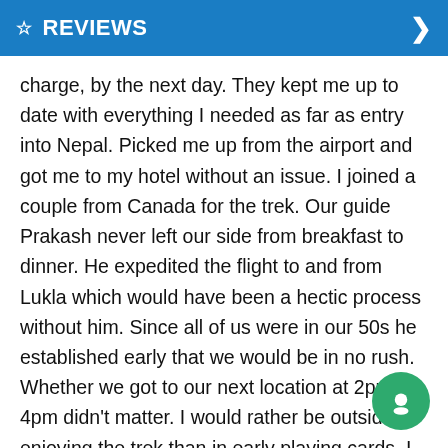☆ REVIEWS
charge, by the next day. They kept me up to date with everything I needed as far as entry into Nepal. Picked me up from the airport and got me to my hotel without an issue. I joined a couple from Canada for the trek. Our guide Prakash never left our side from breakfast to dinner. He expedited the flight to and from Lukla which would have been a hectic process without him. Since all of us were in our 50s he established early that we would be in no rush. Whether we got to our next location at 2pm or 4pm didn't matter. I would rather be outside enjoying the trek than in early playing cards. I felt safe and looked after with him. This trek is tough. It's much steeper than I anticipated and the altitude change from place to place does not reflect the ascents and descents which some days doubles the heights you actually do. They ascent into Tengbouche and at Dugla pass are particularly